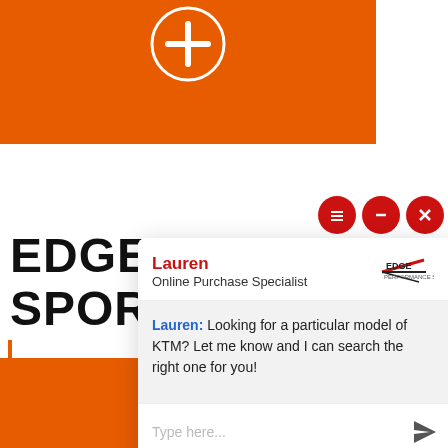[Figure (screenshot): Orange banner top section with white plus/cross circle icon]
Text Us
[Figure (screenshot): Chat window with Lauren, Online Purchase Specialist for Edge Performance Sports. Message: Looking for a particular model of KTM? Let me know and I can search the right one for you!]
EDGE P... SPORTS...
Powered By: LiveAdmins